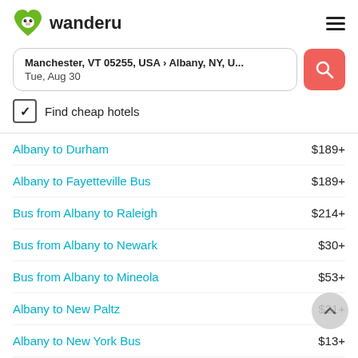[Figure (logo): Wanderu logo: green heart-shaped monkey face icon and bold text 'wanderu']
Manchester, VT 05255, USA › Albany, NY, U...
Tue, Aug 30
✓ Find cheap hotels
Albany to Durham   $189+
Albany to Fayetteville Bus   $189+
Bus from Albany to Raleigh   $214+
Bus from Albany to Newark   $30+
Bus from Albany to Mineola   $53+
Albany to New Paltz   $21+
Albany to New York Bus   $13+
Bus from Albany to Niagara Falls   $81+
Bus from Albany to Syracuse   $37+
Bus from Albany to Philadelphia   $43+